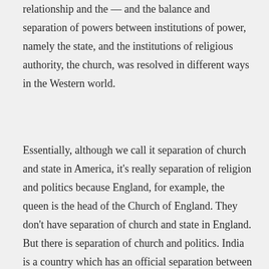relationship and the — and the balance and separation of powers between institutions of power, namely the state, and the institutions of religious authority, the church, was resolved in different ways in the Western world.
Essentially, although we call it separation of church and state in America, it's really separation of religion and politics because England, for example, the queen is the head of the Church of England. They don't have separation of church and state in England. But there is separation of church and politics. India is a country which has an official separation between church and state, or temple and state, but there's no separation between religion and politics. And we in America are somewhere in between, as Professor